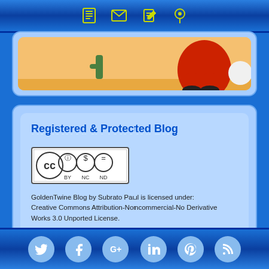Navigation icons: phone, email, edit, location
[Figure (illustration): Partial view of a Santa Claus cartoon illustration on a sandy/orange background]
Registered & Protected Blog
[Figure (logo): Creative Commons Attribution-Noncommercial-No Derivative Works badge (CC BY NC ND)]
GoldenTwine Blog by Subrato Paul is licensed under: Creative Commons Attribution-Noncommercial-No Derivative Works 3.0 Unported License.
[Figure (logo): DMCA Protected badge with lock icon, blue DMCA text and black PROTECTED text]
[Figure (logo): Copyrighted.com Registered & protected badge]
Social media icons: Twitter, Facebook, Google+, LinkedIn, Pinterest, RSS